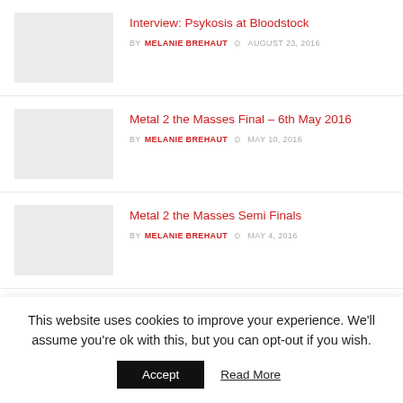Interview: Psykosis at Bloodstock | BY MELANIE BREHAUT | AUGUST 23, 2016
Metal 2 the Masses Final – 6th May 2016 | BY MELANIE BREHAUT | MAY 10, 2016
Metal 2 the Masses Semi Finals | BY MELANIE BREHAUT | MAY 4, 2016
Metal 2 the Masses Heat 6 – 8th April, 2016 | BY MELANIE BREHAUT | APRIL 12, 2016
This website uses cookies to improve your experience. We'll assume you're ok with this, but you can opt-out if you wish.